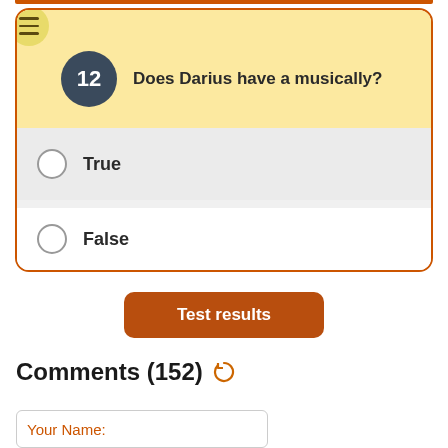Does Darius have a musically?
True
False
Test results
Comments (152)
Your Name: